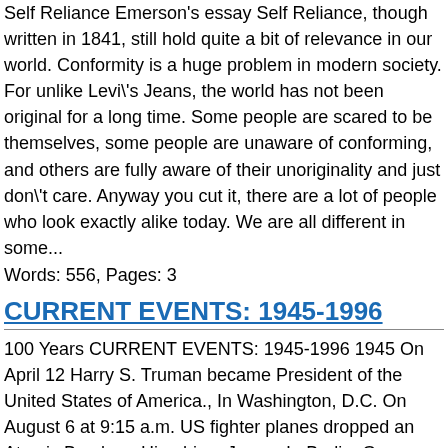Self Reliance Emerson's essay Self Reliance, though written in 1841, still hold quite a bit of relevance in our world. Conformity is a huge problem in modern society. For unlike Levi\'s Jeans, the world has not been original for a long time. Some people are scared to be themselves, some people are unaware of conforming, and others are fully aware of their unoriginality and just don\'t care. Anyway you cut it, there are a lot of people who look exactly alike today. We are all different in some...
Words: 556, Pages: 3
CURRENT EVENTS: 1945-1996
100 Years CURRENT EVENTS: 1945-1996 1945 On April 12 Harry S. Truman became President of the United States of America., In Washington, D.C. On August 6 at 9:15 a.m. US fighter planes dropped an Atomic Bomb on Hiroshima Japan. In Berlin, Germany on April 30, Adolf Hitler was found dead.